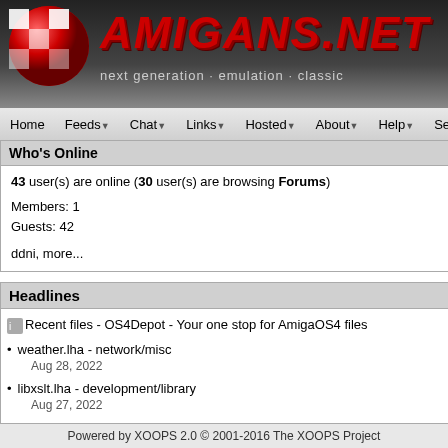AMIGANS.NET - next generation · emulation · classic
Home Feeds Chat Links Hosted About Help Search
Who's Online
43 user(s) are online (30 user(s) are browsing Forums)
Members: 1
Guests: 42
ddni, more...
Headlines
Recent files - OS4Depot - Your one stop for AmigaOS4 files
weather.lha - network/misc
Aug 28, 2022
libxslt.lha - development/library
Aug 27, 2022
aes.lha - utility/misc
and where it can b...
By double-clicking you'll get info on w... versions are in use...
Always make sure AmiUpdated, and l... installed. If you've and the update, ple... libraries might still...
Links
The main page for http://jamiga2.blog... JAmiga is available os4depot/develop...
Maintainer and developer fo...
Powered by XOOPS 2.0 © 2001-2016 The XOOPS Project